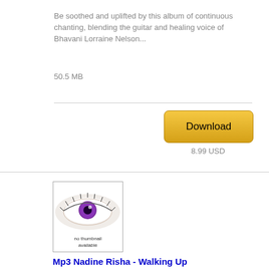Be soothed and uplifted by this album of continuous chanting, blending the guitar and healing voice of Bhavani Lorraine Nelson...
50.5 MB
[Figure (screenshot): Download button with golden/yellow gradient background, labeled 'Download']
8.99 USD
[Figure (photo): Album thumbnail placeholder showing a purple eye with white lashes on white background and 'no thumbnail available' text]
Mp3 Nadine Risha - Walking Up
Modern Sacred Music - eclectic music for mediation and raising your vibration. Chanting and topics with instruments and more...